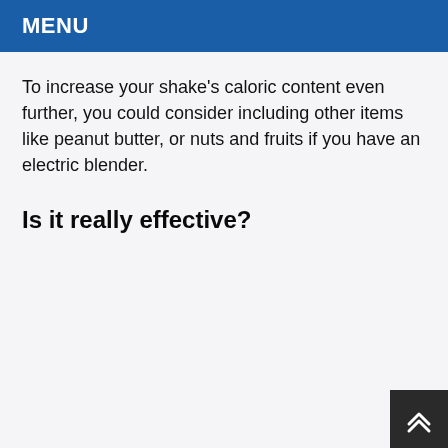MENU
To increase your shake's caloric content even further, you could consider including other items like peanut butter, or nuts and fruits if you have an electric blender.
Is it really effective?